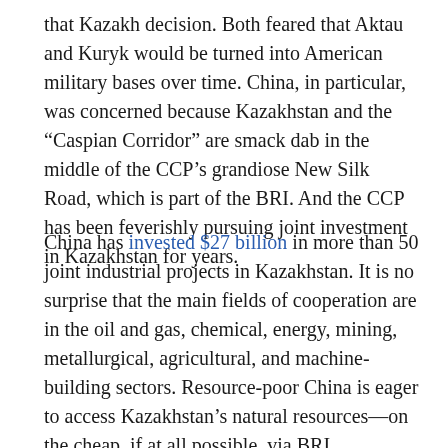that Kazakh decision. Both feared that Aktau and Kuryk would be turned into American military bases over time. China, in particular, was concerned because Kazakhstan and the “Caspian Corridor” are smack dab in the middle of the CCP’s grandiose New Silk Road, which is part of the BRI. And the CCP has been feverishly pursuing joint investment in Kazakhstan for years.
China has invested $27 billion in more than 50 joint industrial projects in Kazakhstan. It is no surprise that the main fields of cooperation are in the oil and gas, chemical, energy, mining, metallurgical, agricultural, and machine-building sectors. Resource-poor China is eager to access Kazakhstan’s natural resources—on the cheap, if at all possible, via BRI investments.